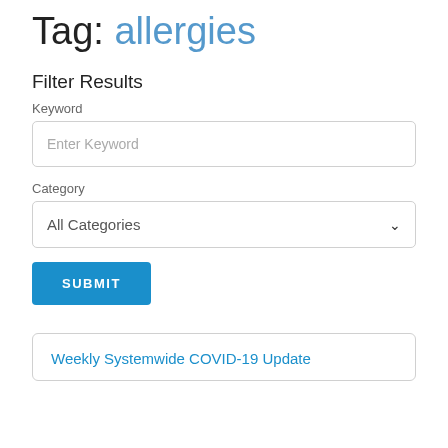Tag: allergies
Filter Results
Keyword
Enter Keyword
Category
All Categories
SUBMIT
Weekly Systemwide COVID-19 Update